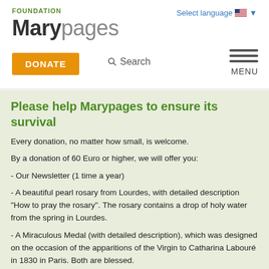FOUNDATION Marypages | Select language
Please help Marypages to ensure its survival
Every donation, no matter how small, is welcome.
By a donation of 60 Euro or higher, we will offer you:
- Our Newsletter (1 time a year)
- A beautiful pearl rosary from Lourdes, with detailed description "How to pray the rosary". The rosary contains a drop of holy water from the spring in Lourdes.
- A Miraculous Medal (with detailed description), which was designed on the occasion of the apparitions of the Virgin to Catharina Labouré in 1830 in Paris. Both are blessed.
Please donate via our Donation module